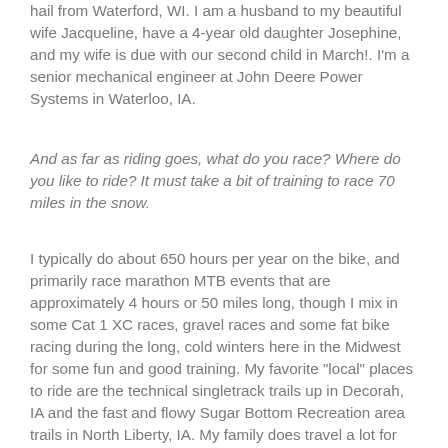hail from Waterford, WI. I am a husband to my beautiful wife Jacqueline, have a 4-year old daughter Josephine, and my wife is due with our second child in March!. I'm a senior mechanical engineer at John Deere Power Systems in Waterloo, IA.
And as far as riding goes, what do you race? Where do you like to ride? It must take a bit of training to race 70 miles in the snow.
I typically do about 650 hours per year on the bike, and primarily race marathon MTB events that are approximately 4 hours or 50 miles long, though I mix in some Cat 1 XC races, gravel races and some fat bike racing during the long, cold winters here in the Midwest for some fun and good training. My favorite "local" places to ride are the technical singletrack trails up in Decorah, IA and the fast and flowy Sugar Bottom Recreation area trails in North Liberty, IA. My family does travel a lot for MTB destination races and riding and we are regulars at